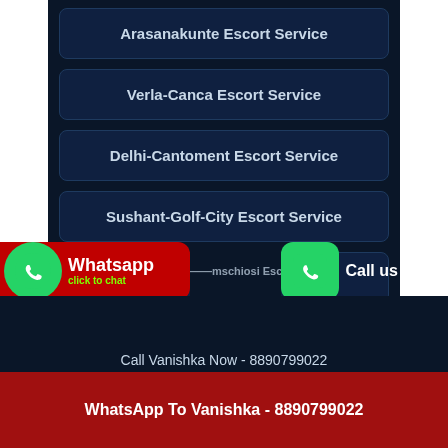Arasanakunte Escort Service
Verla-Canca Escort Service
Delhi-Cantoment Escort Service
Sushant-Golf-City Escort Service
Bhan-Nagar Escort Service
Humayun-Nagar Escort Service
Pimpri Escort Service
Call Vanishka Now - 8890799022
WhatsApp To Vanishka - 8890799022